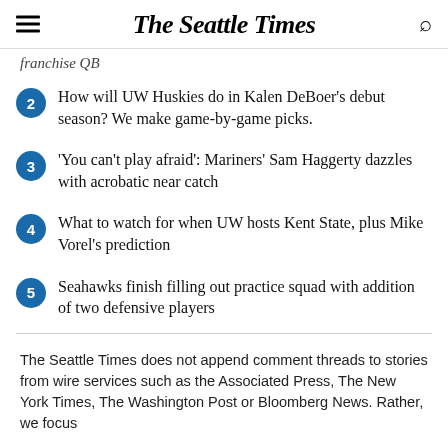The Seattle Times
franchise QB
How will UW Huskies do in Kalen DeBoer's debut season? We make game-by-game picks.
'You can't play afraid': Mariners' Sam Haggerty dazzles with acrobatic near catch
What to watch for when UW hosts Kent State, plus Mike Vorel's prediction
Seahawks finish filling out practice squad with addition of two defensive players
The Seattle Times does not append comment threads to stories from wire services such as the Associated Press, The New York Times, The Washington Post or Bloomberg News. Rather, we focus